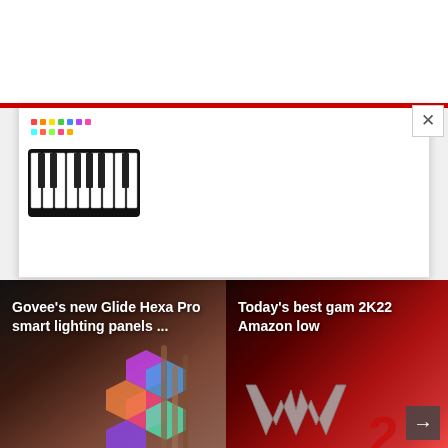[Figure (screenshot): White top section of a webpage with a red bar/header stripe across the top]
[Figure (photo): A MIDI keyboard/piano controller with colorful buttons, shown in a modal/advertisement card with a close (X) button]
[Figure (photo): Govee Glide Hexa Pro smart lighting panels shown on a dark wall, hexagonal colorful light panels]
Govee's new Glide Hexa Pro smart lighting panels ...
[Figure (photo): WWE 2K22 game promotional image with the WWE logo and colorful character art]
Today's best gam 2K22 Amazon low